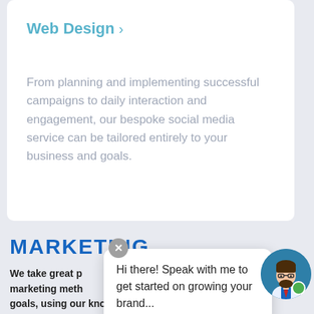Web Design  >
From planning and implementing successful campaigns to daily interaction and engagement, our bespoke social media service can be tailored entirely to your business and goals.
MARKETING
We take great p... marketing meth... goals, using our knowledge and expertise in
Hi there! Speak with me to get started on growing your brand...
[Figure (illustration): Chat widget close button (grey circle with X) and avatar circle (blue circle with cartoon bearded man, green online indicator dot)]